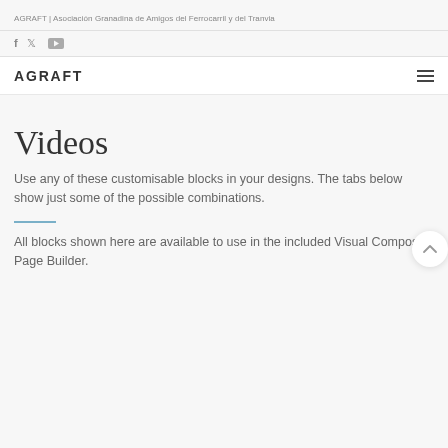AGRAFT | Asociación Granadina de Amigos del Ferrocarril y del Tranvia
[Figure (other): Social media icons: Facebook (f), Twitter (bird), YouTube (play button)]
AGRAFT
[Figure (other): Hamburger menu icon (three horizontal lines)]
Videos
Use any of these customisable blocks in your designs. The tabs below show just some of the possible combinations.
All blocks shown here are available to use in the included Visual Composer Page Builder.